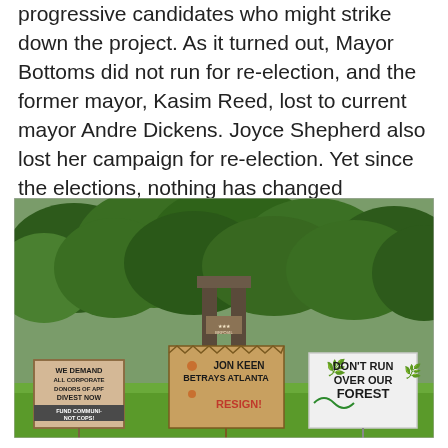progressive candidates who might strike down the project. As it turned out, Mayor Bottoms did not run for re-election, and the former mayor, Kasim Reed, lost to current mayor Andre Dickens. Joyce Shepherd also lost her campaign for re-election. Yet since the elections, nothing has changed regarding the Blackhall and APF developments.
[Figure (photo): Protest signs displayed on a lawn in front of trees and a gate entrance. Three signs visible: left sign reads 'WE DEMAND ALL CORPORATE DONORS OF APF DIVEST NOW FUND COMMUNITY NOT COPS!', center sign reads 'JON KEEN BETRAYS ATLANTA RESIGN!', right sign reads 'DON'T RUN OVER OUR FOREST'.]